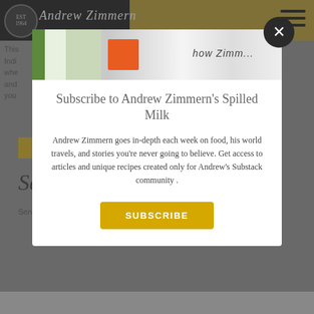[Figure (screenshot): Andrew Zimmern website header bar with logo, signature, and hamburger menu on gold background]
This ... the Indi... s whe... n and... r if you...
[Figure (screenshot): Modal overlay with subscribe popup for Andrew Zimmern's Spilled Milk newsletter, containing an ad strip image, close button, title, description, and subscribe button]
Subscribe to Andrew Zimmern's Spilled Milk
Andrew Zimmern goes in-depth each week on food, his world travels, and stories you're never going to believe. Get access to articles and unique recipes created only for Andrew's Substack community .
SUBSCRIBE